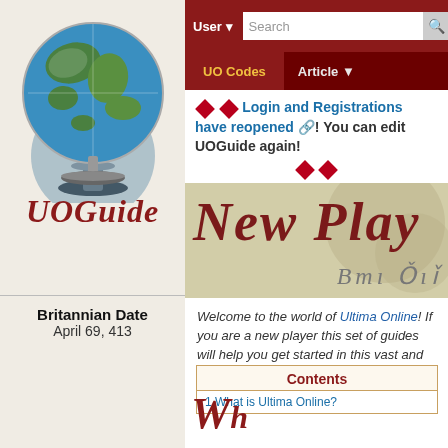[Figure (illustration): UOGuide logo: a globe showing fantasy map with green landmasses on blue ocean, on a silver stand, above stylized red gothic text reading UOGuide]
Britannian Date
April 69, 413
User ▼   Search   [search icon]   UO Codes   Article ▼
♦ ♦ Login and Registrations have reopened ⧉! You can edit UOGuide again! ♦ ♦
[Figure (illustration): Banner image with parchment/stone texture background, large italic red text reading 'New Play' (partially visible), and runic text 'Bm1 Tim' at bottom right]
Welcome to the world of Ultima Online! If you are a new player this set of guides will help you get started in this vast and exciting place called Britannia.
Contents
1 What is Ultima Online?